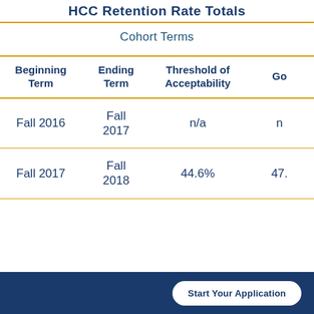HCC Retention Rate Totals
Cohort Terms
| Beginning Term | Ending Term | Threshold of Acceptability | Go |
| --- | --- | --- | --- |
| Fall 2016 | Fall 2017 | n/a | n |
| Fall 2017 | Fall 2018 | 44.6% | 47. |
Start Your Application